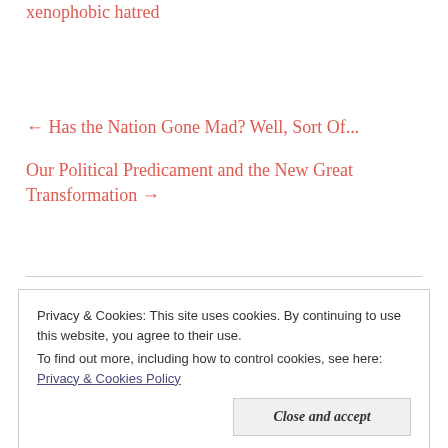xenophobic hatred
← Has the Nation Gone Mad? Well, Sort Of...
Our Political Predicament and the New Great Transformation →
Privacy & Cookies: This site uses cookies. By continuing to use this website, you agree to their use.
To find out more, including how to control cookies, see here: Privacy & Cookies Policy
Close and accept